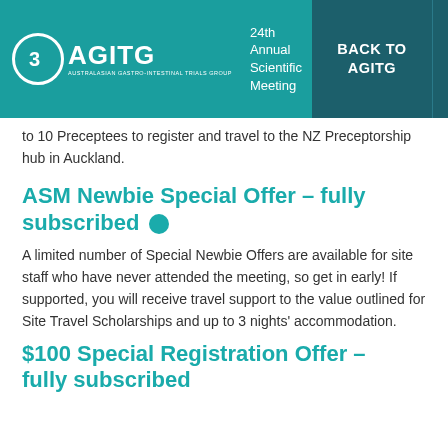AGITG – 24th Annual Scientific Meeting | BACK TO AGITG
to 10 Preceptees to register and travel to the NZ Preceptorship hub in Auckland.
ASM Newbie Special Offer – fully subscribed
A limited number of Special Newbie Offers are available for site staff who have never attended the meeting, so get in early!  If supported, you will receive travel support to the value outlined for Site Travel Scholarships and up to 3 nights' accommodation.
$100 Special Registration Offer – fully subscribed